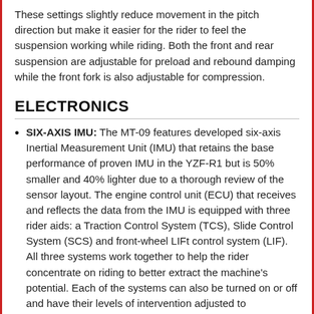These settings slightly reduce movement in the pitch direction but make it easier for the rider to feel the suspension working while riding. Both the front and rear suspension are adjustable for preload and rebound damping while the front fork is also adjustable for compression.
ELECTRONICS
SIX-AXIS IMU: The MT-09 features developed six-axis Inertial Measurement Unit (IMU) that retains the base performance of proven IMU in the YZF-R1 but is 50% smaller and 40% lighter due to a thorough review of the sensor layout. The engine control unit (ECU) that receives and reflects the data from the IMU is equipped with three rider aids: a Traction Control System (TCS), Slide Control System (SCS) and front-wheel LIFt control system (LIF). All three systems work together to help the rider concentrate on riding to better extract the machine's potential. Each of the systems can also be turned on or off and have their levels of intervention adjusted to preference. With this best-in-class electronic control technology, the MT-09 gives you the ultimate control in varying weather and